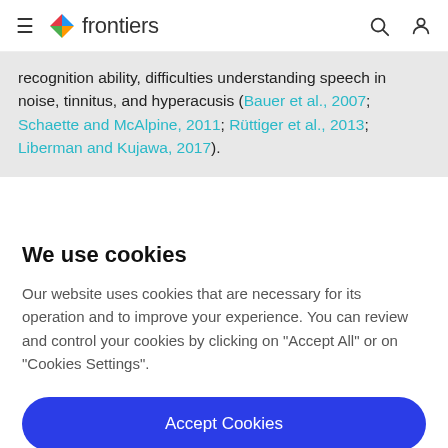frontiers
recognition ability, difficulties understanding speech in noise, tinnitus, and hyperacusis (Bauer et al., 2007; Schaette and McAlpine, 2011; Rüttiger et al., 2013; Liberman and Kujawa, 2017).
We use cookies
Our website uses cookies that are necessary for its operation and to improve your experience. You can review and control your cookies by clicking on "Accept All" or on "Cookies Settings".
Accept Cookies
Cookies Settings